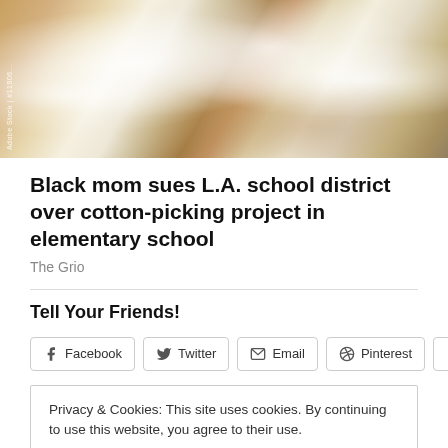[Figure (photo): Close-up photo of cotton bolls on a cotton plant with fluffy white cotton and brown stems, with a watermark reading 'Adobe Stock | #11906...' written vertically]
Black mom sues L.A. school district over cotton-picking project in elementary school
The Grio
Tell Your Friends!
Facebook | Twitter | Email | Pinterest | More
Privacy & Cookies: This site uses cookies. By continuing to use this website, you agree to their use.
To find out more, including how to control cookies, see here: Cookie Policy
Close and accept
Why Don't You Put a Blanket Over Your Face?